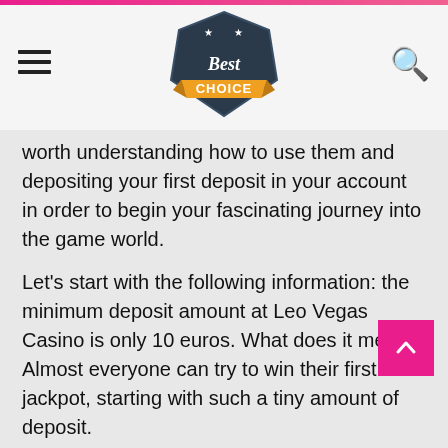Best Choice — navigation header with logo, hamburger menu, and search icon
worth understanding how to use them and depositing your first deposit in your account in order to begin your fascinating journey into the game world.
Let's start with the following information: the minimum deposit amount at Leo Vegas Casino is only 10 euros. What does it mean? Almost everyone can try to win their first jackpot, starting with such a tiny amount of deposit.
In addition, the entire history of your deposits will be available at any time. DO NOT forget